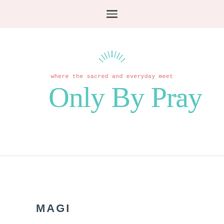≡ (hamburger menu icon)
[Figure (logo): Only By Prayer logo — tagline 'where the sacred and everyday meet' in coral/salmon handwritten font with sun rays icon above, and 'Only By Prayer' in large teal serif font below with a small arrow flourish]
MAGI